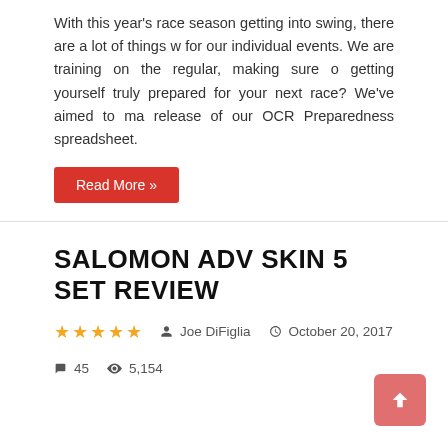With this year's race season getting into swing, there are a lot of things w... for our individual events. We are training on the regular, making sure o... getting yourself truly prepared for your next race? We've aimed to ma... release of our OCR Preparedness spreadsheet.
Read More »
SALOMON ADV SKIN 5 SET REVIEW
★★★★½  Joe DiFiglia  October 20, 2017  45  5,154